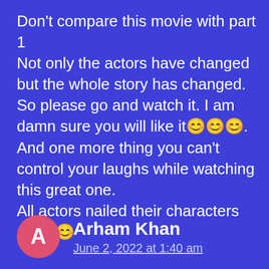Don't compare this movie with part 1 Not only the actors have changed but the whole story has changed. So please go and watch it. I am damn sure you will like it😊😊😊. And one more thing you can't control your laughs while watching this great one. All actors nailed their characters😊😊😊
Reply
Arham Khan
June 2, 2022 at 1:40 am